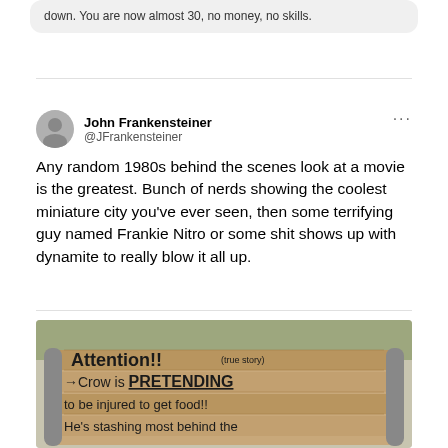down. You are now almost 30, no money, no skills.
John Frankensteiner @JFrankensteiner
Any random 1980s behind the scenes look at a movie is the greatest. Bunch of nerds showing the coolest miniature city you've ever seen, then some terrifying guy named Frankie Nitro or some shit shows up with dynamite to really blow it all up.
[Figure (photo): Photo of a wooden park bench with handwritten text reading: Attention!! (true story) →Crow is PRETENDING to be injured to get food!! He's stashing most behind the [cut off]]